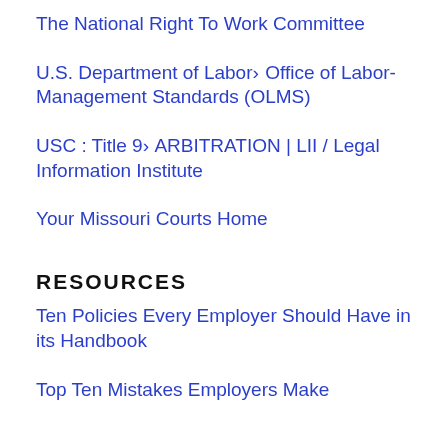The National Right To Work Committee
U.S. Department of Labor» Office of Labor-Management Standards (OLMS)
USC : Title 9» ARBITRATION | LII / Legal Information Institute
Your Missouri Courts Home
RESOURCES
Ten Policies Every Employer Should Have in its Handbook
Top Ten Mistakes Employers Make
Recent Posts
NLRB Seeks to Reduce Company Speech About